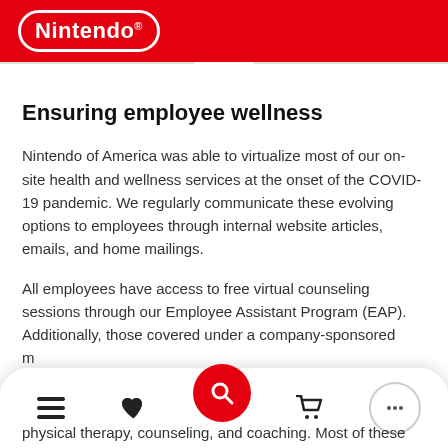Nintendo®
Ensuring employee wellness
Nintendo of America was able to virtualize most of our on-site health and wellness services at the onset of the COVID-19 pandemic. We regularly communicate these evolving options to employees through internal website articles, emails, and home mailings.
All employees have access to free virtual counseling sessions through our Employee Assistant Program (EAP). Additionally, those covered under a company-sponsored medical plan can access behavioral health, physical therapy, counseling, and coaching. Most of these
physical therapy, counseling, and coaching. Most of these